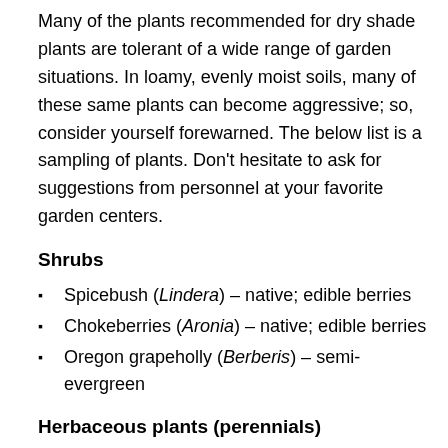Many of the plants recommended for dry shade plants are tolerant of a wide range of garden situations. In loamy, evenly moist soils, many of these same plants can become aggressive; so, consider yourself forewarned. The below list is a sampling of plants. Don't hesitate to ask for suggestions from personnel at your favorite garden centers.
Shrubs
Spicebush (Lindera) – native; edible berries
Chokeberries (Aronia) – native; edible berries
Oregon grapeholly (Berberis) – semi-evergreen
Herbaceous plants (perennials)
Allegheny spurge (Pachysandra) – groundcover;